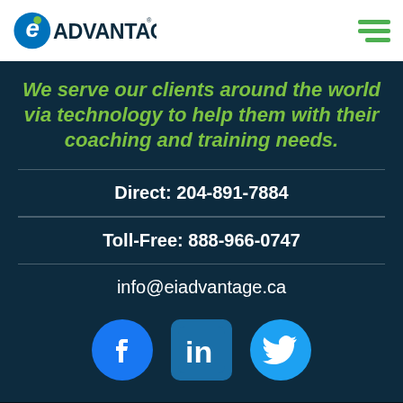EI Advantage logo and navigation menu
We serve our clients around the world via technology to help them with their coaching and training needs.
Direct: 204-891-7884
Toll-Free: 888-966-0747
info@eiadvantage.ca
[Figure (illustration): Social media icons: Facebook, LinkedIn, Twitter]
©2022 EI Advantage | Terms of Use | Privacy Policy | Login
Website Design by ViewSource Media